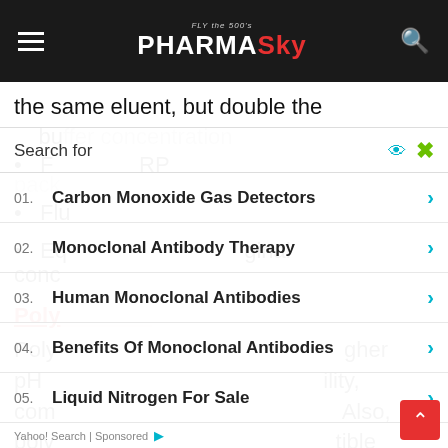PharmaSky
the same eluent, but double the bu...
F... RP pack...
Flu...
Eq... ginal conc...
Poly...
Poly... gher pH ility, com Also, poly tible with rink in some organic solvents. Unfortunately, the pressure stability and solvent compatibility are different for the different nature of polymers and from manufacturer to manufacturer. Therefore, no general rules for
Search for
01. Carbon Monoxide Gas Detectors
02. Monoclonal Antibody Therapy
03. Human Monoclonal Antibodies
04. Benefits Of Monoclonal Antibodies
05. Liquid Nitrogen For Sale
Yahoo! Search | Sponsored